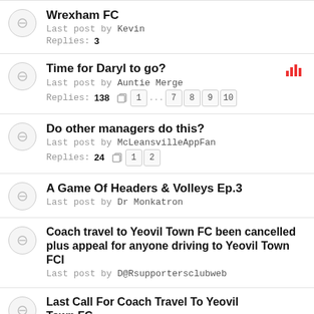Wrexham FC
Last post by Kevin
Replies: 3
Time for Daryl to go?
Last post by Auntie Merge
Replies: 138
Pages: 1 ... 7 8 9 10
Do other managers do this?
Last post by McLeansvilleAppFan
Replies: 24
Pages: 1 2
A Game Of Headers & Volleys Ep.3
Last post by Dr Monkatron
Coach travel to Yeovil Town FC been cancelled plus appeal for anyone driving to Yeovil Town FCI
Last post by D@Rsupportersclubweb
Last Call For Coach Travel To Yeovil Town FC